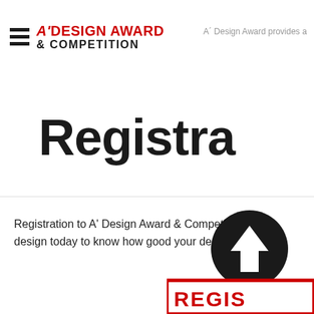A' DESIGN AWARD & COMPETITION — A' Design Award provides a
Registra
Registration to A' Design Award & Competition 2... design today to know how good your design is: g
[Figure (logo): Black circle with white upward arrow icon, and a red bordered button with REGIS text]